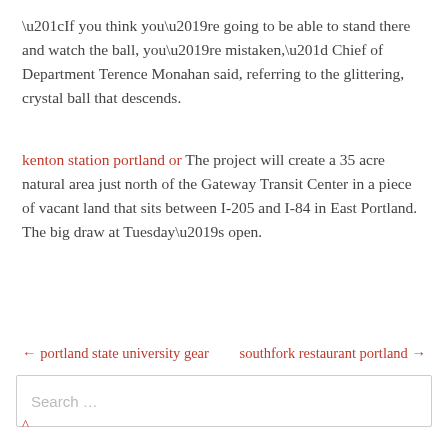“If you think you’re going to be able to stand there and watch the ball, you’re mistaken,” Chief of Department Terence Monahan said, referring to the glittering, crystal ball that descends.
kenton station portland or The project will create a 35 acre natural area just north of the Gateway Transit Center in a piece of vacant land that sits between I-205 and I-84 in East Portland. The big draw at Tuesday’s open.
← portland state university gear    southfork restaurant portland →
Search …
^